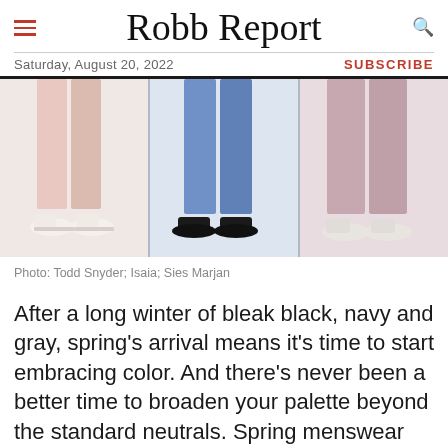Robb Report
Saturday, August 20, 2022 | SUBSCRIBE
[Figure (photo): Three fashion photos showing men's trousers: left panel shows light pink trousers with white oxford shoes, center panel shows blue trousers with black dress shoes, right panel shows pink/mauve wide-leg trousers with white shoes.]
Photo: Todd Snyder; Isaia; Sies Marjan
After a long winter of bleak black, navy and gray, spring's arrival means it's time to start embracing color. And there's never been a better time to broaden your palette beyond the standard neutrals. Spring menswear collections were awash in sunny hues, from calamine pink